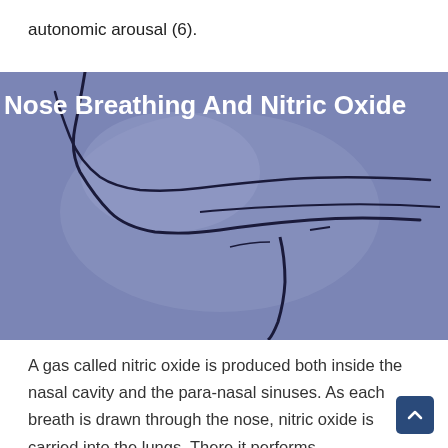autonomic arousal (6).
[Figure (illustration): Illustration of a cross-section of the human nose and nasal cavity on a blue-purple background, with the title 'Nose Breathing And Nitric Oxide' overlaid in bold white text.]
A gas called nitric oxide is produced both inside the nasal cavity and the para-nasal sinuses. As each breath is drawn through the nose, nitric oxide is carried into the lungs. There it performs